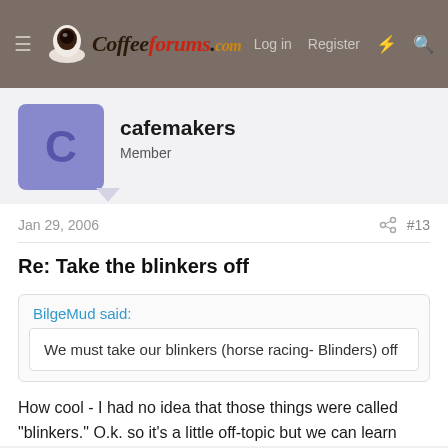CoffeeForums.com  Log in  Register
cafemakers
Member
Jan 29, 2006  #13
Re: Take the blinkers off
BilgeMud said:
We must take our blinkers (horse racing- Blinders) off
How cool - I had no idea that those things were called "blinkers." O.k. so it's a little off-topic but we can learn